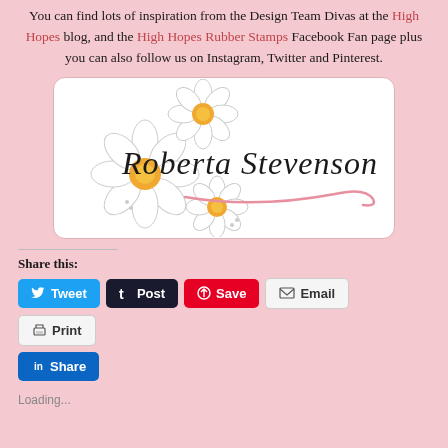You can find lots of inspiration from the Design Team Divas at the High Hopes blog, and the High Hopes Rubber Stamps Facebook Fan page plus you can also follow us on Instagram, Twitter and Pinterest.
[Figure (illustration): Signature card with white daisy flowers and cursive text reading 'Roberta Stevenson' with a pink flourish underline, on a white rounded rectangle background.]
Share this:
Tweet  Post  Save  Email  Print  Share
Loading...